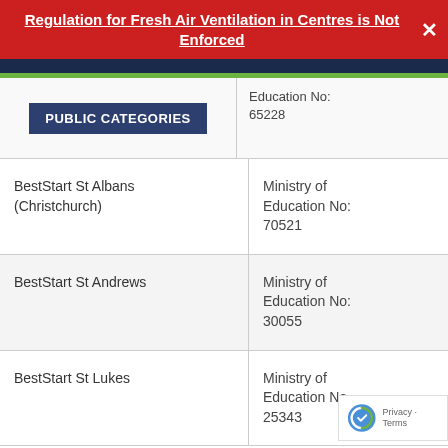Regulation for Fresh Air Ventilation in Centres is Not Enforced
|  | Education No: |
| --- | --- |
| PUBLIC CATEGORIES | Education No: 65228 |
| BestStart St Albans (Christchurch) | Ministry of Education No: 70521 |
| BestStart St Andrews | Ministry of Education No: 30055 |
| BestStart St Lukes | Ministry of Education No: 25343 |